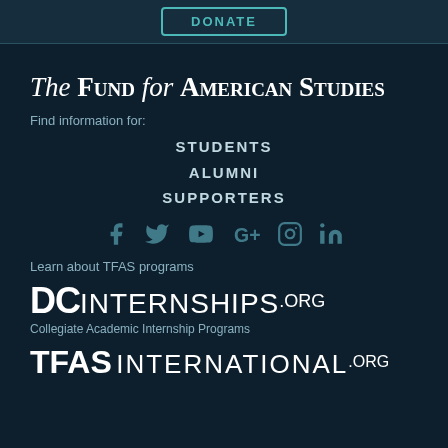DONATE
The Fund for American Studies
Find information for:
STUDENTS
ALUMNI
SUPPORTERS
[Figure (illustration): Social media icons: Facebook, Twitter, YouTube, Google+, Instagram, LinkedIn]
Learn about TFAS programs
[Figure (logo): DCINTERNSHIPS.ORG logo — DC in bold, INTERNSHIPS.ORG in lighter weight. Subtitle: Collegiate Academic Internship Programs]
[Figure (logo): TFAS INTERNATIONAL.ORG logo — TFAS in bold, INTERNATIONAL.ORG in lighter weight]